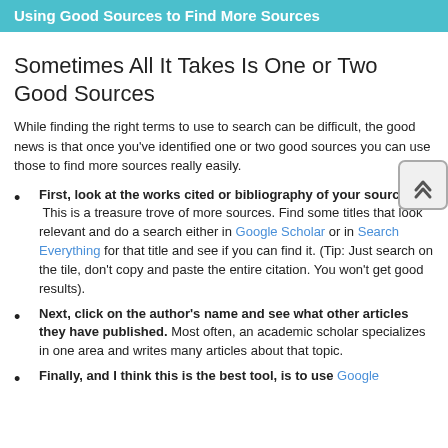Using Good Sources to Find More Sources
Sometimes All It Takes Is One or Two Good Sources
While finding the right terms to use to search can be difficult, the good news is that once you've identified one or two good sources you can use those to find more sources really easily.
First, look at the works cited or bibliography of your source. This is a treasure trove of more sources. Find some titles that look relevant and do a search either in Google Scholar or in Search Everything for that title and see if you can find it. (Tip: Just search on the tile, don't copy and paste the entire citation. You won't get good results).
Next, click on the author's name and see what other articles they have published. Most often, an academic scholar specializes in one area and writes many articles about that topic.
Finally, and I think this is the best tool, is to use Google